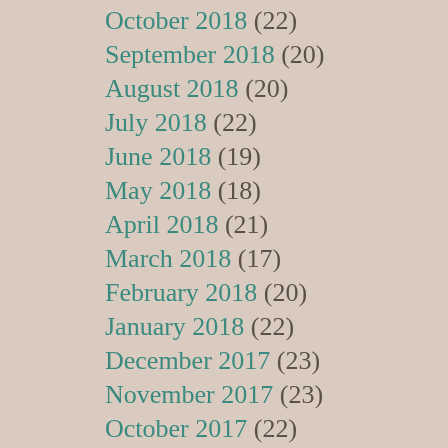October 2018 (22)
September 2018 (20)
August 2018 (20)
July 2018 (22)
June 2018 (19)
May 2018 (18)
April 2018 (21)
March 2018 (17)
February 2018 (20)
January 2018 (22)
December 2017 (23)
November 2017 (23)
October 2017 (22)